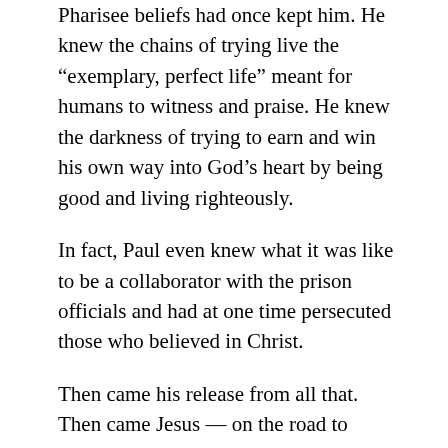Pharisee beliefs had once kept him. He knew the chains of trying live the “exemplary, perfect life” meant for humans to witness and praise. He knew the darkness of trying to earn and win his own way into God’s heart by being good and living righteously.
In fact, Paul even knew what it was like to be a collaborator with the prison officials and had at one time persecuted those who believed in Christ.
Then came his release from all that. Then came Jesus — on the road to Damascus — personally challenging him to walk out of that prison with him. Then came the Holy Spirit into his imprisoned heart to release him into the light.
“I was personally unknown to the churches of Judea that are in Christ. They only heard the report: ‘The